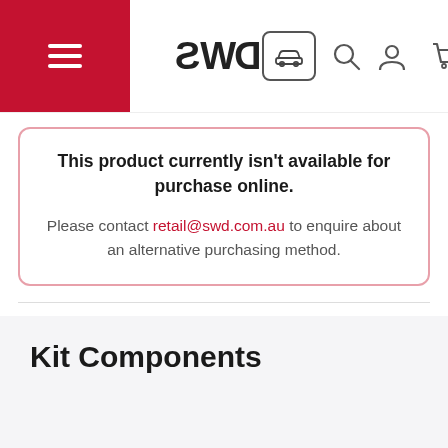SWD website header with menu, logo, car icon, search, account, and cart icons
This product currently isn't available for purchase online. Please contact retail@swd.com.au to enquire about an alternative purchasing method.
2 1/2" Cat Back System - Single Outlet Rear. Suits models with Solid Axle.
Kit Components